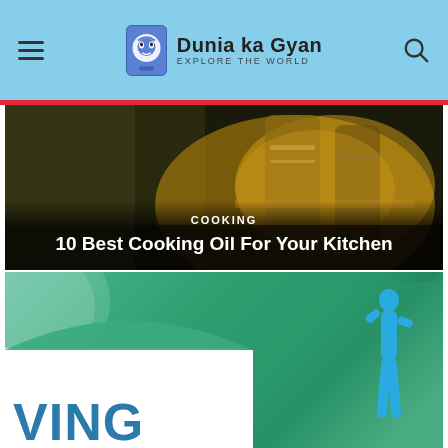Dunia ka Gyan — Explore The World
[Figure (photo): Dark-background photo of cooking oil bottles with olive oil visible, overlaid with category label COOKING and article title text]
10 Best Cooking Oil For Your Kitchen
[Figure (photo): Green gradient background with a white panel at lower-left, a teal curved arc, a blue stylized human figure on the right, and partially visible large blue text 'VING' at the bottom-left]